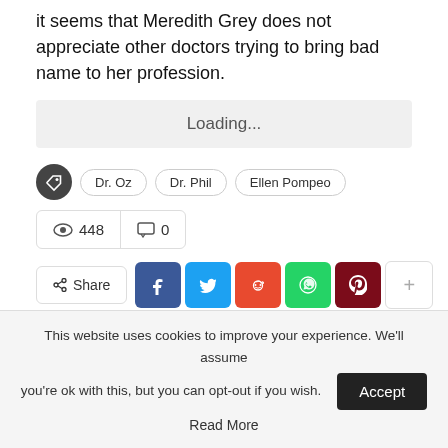it seems that Meredith Grey does not appreciate other doctors trying to bring bad name to her profession.
Loading...
Dr. Oz
Dr. Phil
Ellen Pompeo
448 views  0 comments
Share (Facebook, Twitter, Reddit, WhatsApp, Pinterest, more)
[Figure (other): Dark/black banner block]
This website uses cookies to improve your experience. We'll assume you're ok with this, but you can opt-out if you wish. Accept  Read More